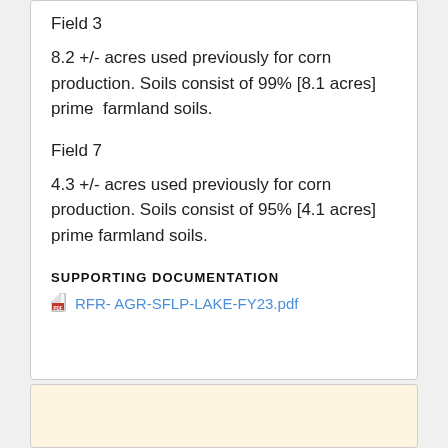Field 3
8.2 +/- acres used previously for corn production. Soils consist of 99% [8.1 acres] prime  farmland soils.
Field 7
4.3 +/- acres used previously for corn production. Soils consist of 95% [4.1 acres] prime farmland soils.
SUPPORTING DOCUMENTATION
RFR- AGR-SFLP-LAKE-FY23.pdf